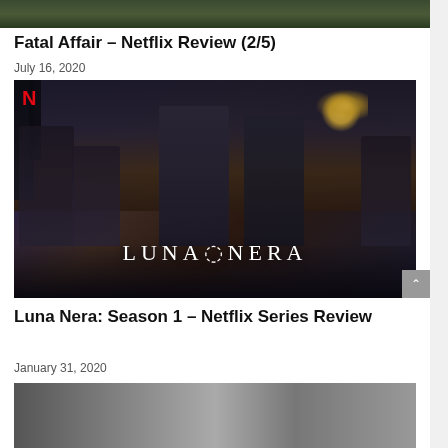[Figure (photo): Top partial image strip from previous article (cropped at top of page)]
Fatal Affair – Netflix Review (2/5)
July 16, 2020
[Figure (photo): Luna Nera Netflix series promotional image showing cast of characters with the Netflix N logo and LUNA NERA title text, set against a dark moody background with moonlight]
Luna Nera: Season 1 – Netflix Series Review
January 31, 2020
[Figure (photo): Partial bottom image strip from next article (cropped at bottom of page)]